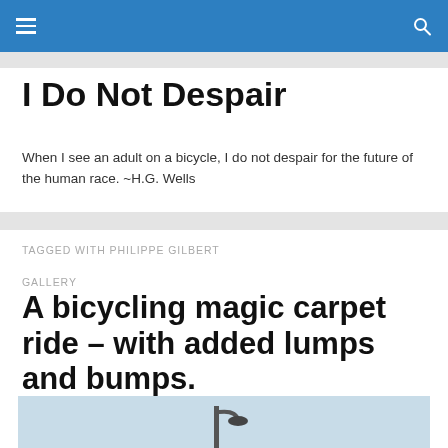I Do Not Despair
When I see an adult on a bicycle, I do not despair for the future of the human race. ~H.G. Wells
TAGGED WITH PHILIPPE GILBERT
GALLERY
A bicycling magic carpet ride – with added lumps and bumps.
[Figure (photo): A street lamp against a light blue sky, cropped at the bottom of the page]